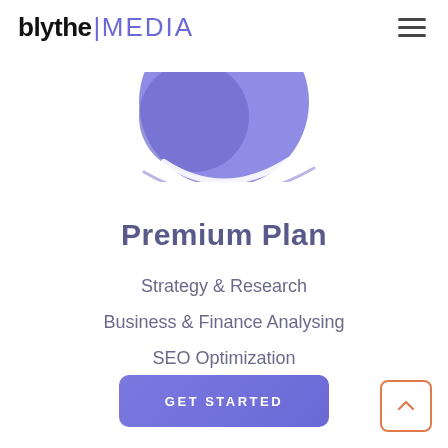blythe | MEDIA
[Figure (illustration): Partial circular illustration with purple/violet gradient shapes suggesting a pricing plan icon, bottom half of a circle visible with a white arc overlay]
Premium Plan
Strategy & Research
Business & Finance Analysing
SEO Optimization
GET STARTED